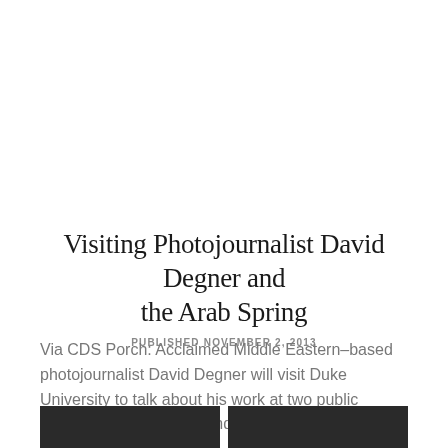Visiting Photojournalist David Degner and the Arab Spring
PUBLISHED NOVEMBER 2, 2013
Via CDS Porch: Acclaimed Middle Eastern–based photojournalist David Degner will visit Duke University to talk about his work at two public events and to speak to undergraduates…
[Figure (photo): Two dark/black image thumbnails at the bottom of the page]